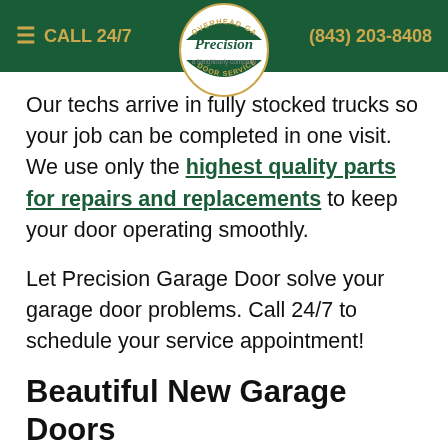≡ CALL 24/7   Precision Overhead Garage Door Service — a Neighborly company   (843) 203-8408
Our techs arrive in fully stocked trucks so your job can be completed in one visit. We use only the highest quality parts for repairs and replacements to keep your door operating smoothly.
Let Precision Garage Door solve your garage door problems. Call 24/7 to schedule your service appointment!
Beautiful New Garage Doors
Want to upgrade your curb appeal? Don't